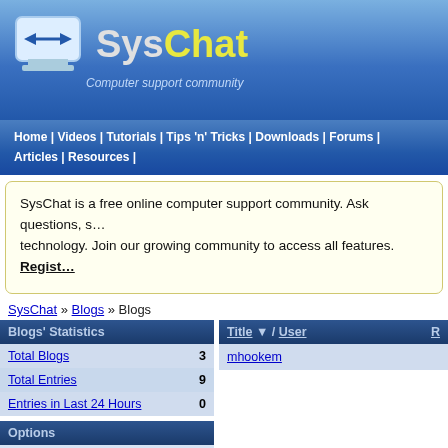[Figure (logo): SysChat logo with computer icon and tagline 'Computer support community']
Home | Videos | Tutorials | Tips 'n' Tricks | Downloads | Forums | Articles | Resources |
SysChat is a free online computer support community. Ask questions, s... technology. Join our growing community to access all features. Regist...
SysChat » Blogs » Blogs
| Blogs' Statistics |  |
| --- | --- |
| Total Blogs | 3 |
| Total Entries | 9 |
| Entries in Last 24 Hours | 0 |
Options
View a Random Blog Entry
View RSS Feed
| Title ▼ / User | R |
| --- | --- |
| mhookem |  |